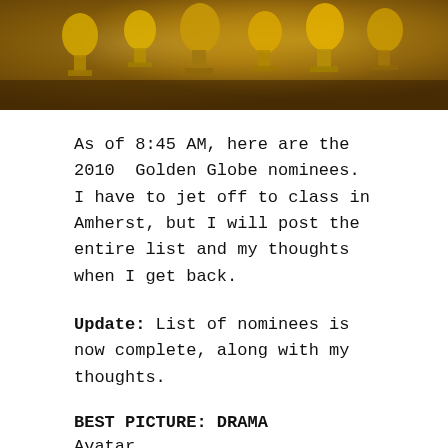[Figure (photo): Photo of Golden Globe trophies, golden statues lined up, warm amber/gold tones]
As of 8:45 AM, here are the 2010  Golden Globe nominees. I have to jet off to class in Amherst, but I will post the entire list and my thoughts when I get back.
Update: List of nominees is now complete, along with my thoughts.
BEST PICTURE: DRAMA
Avatar
The Hurt Locker
Inglourious Basterds